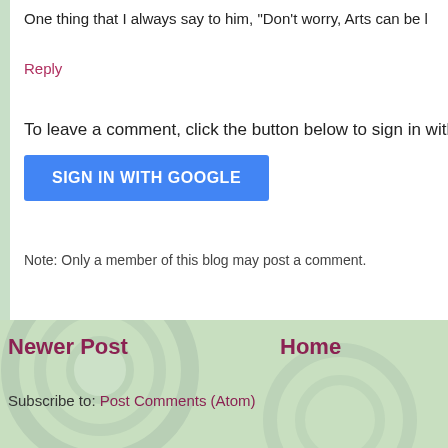One thing that I always say to him, "Don't worry, Arts can be l
Reply
To leave a comment, click the button below to sign in with
[Figure (screenshot): Blue SIGN IN WITH GOOGLE button]
Note: Only a member of this blog may post a comment.
Newer Post
Home
Subscribe to: Post Comments (Atom)